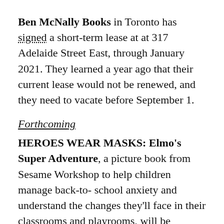Ben McNally Books in Toronto has signed a short-term lease at at 317 Adelaide Street East, through January 2021. They learned a year ago that their current lease would not be renewed, and they need to vacate before September 1.
Forthcoming
HEROES WEAR MASKS: Elmo's Super Adventure, a picture book from Sesame Workshop to help children manage back-to-school anxiety and understand the changes they'll face in their classrooms and playrooms, will be published September 15 by Sourcebooks. Sesame Workshop president, media & education and coo Steve Youngwood says, "One of the most powerful things about the S...